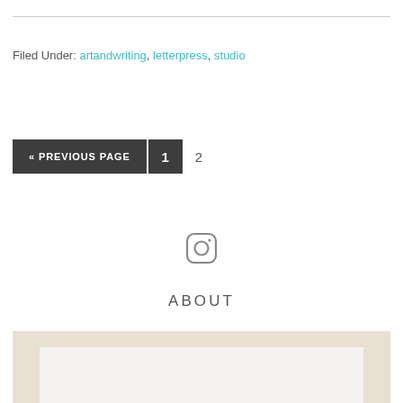Filed Under: artandwriting, letterpress, studio
« PREVIOUS PAGE   1   2
[Figure (illustration): Instagram icon (camera outline with inner circle)]
ABOUT
[Figure (photo): Photo showing a white paper/card with teal handwritten text or illustration, on a warm-toned background]